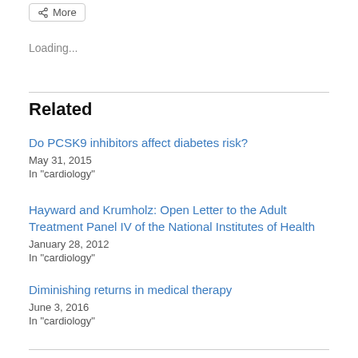Loading...
Related
Do PCSK9 inhibitors affect diabetes risk?
May 31, 2015
In "cardiology"
Hayward and Krumholz: Open Letter to the Adult Treatment Panel IV of the National Institutes of Health
January 28, 2012
In "cardiology"
Diminishing returns in medical therapy
June 3, 2016
In "cardiology"